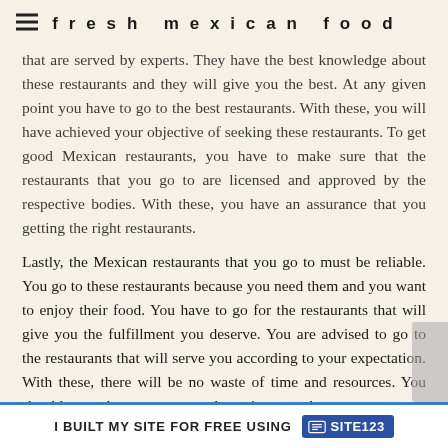fresh mexican food
that are served by experts. They have the best knowledge about these restaurants and they will give you the best. At any given point you have to go to the best restaurants. With these, you will have achieved your objective of seeking these restaurants. To get good Mexican restaurants, you have to make sure that the restaurants that you go to are licensed and approved by the respective bodies. With these, you have an assurance that you getting the right restaurants.
Lastly, the Mexican restaurants that you go to must be reliable. You go to these restaurants because you need them and you want to enjoy their food. You have to go for the restaurants that will give you the fulfillment you deserve. You are advised to go to the restaurants that will serve you according to your expectation. With these, there will be no waste of time and resources. You should go to those restaurants that suit you and
I BUILT MY SITE FOR FREE USING   SITE123